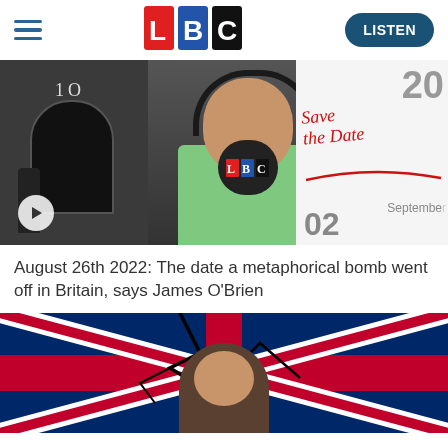LBC | LISTEN
[Figure (screenshot): Composite image: James O'Brien at LBC microphone on left side, '10 Downing Street' door with figure on far left, and a calendar with 'Save the Date' written in red on right side showing September 02. A play button overlay is visible.]
August 26th 2022: The date a metaphorical bomb went off in Britain, says James O'Brien
[Figure (photo): Photo of a man (James O'Brien) standing in front of a cracked or shattered Union Jack (British flag) background, with red, white and blue colours visible.]